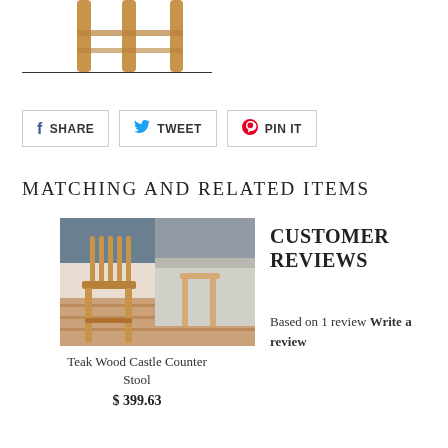[Figure (photo): Partial view of teak wood furniture legs at the top of the page]
[Figure (other): Horizontal separator line]
SHARE  TWEET  PIN IT
MATCHING AND RELATED ITEMS
[Figure (photo): Teak Wood Castle Counter Stool product photo showing two teak bar stools on a deck]
Teak Wood Castle Counter Stool
$ 399.63
CUSTOMER REVIEWS
Based on 1 review Write a review